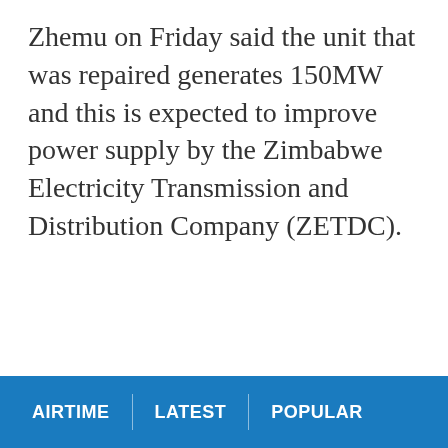Zhemu on Friday said the unit that was repaired generates 150MW and this is expected to improve power supply by the Zimbabwe Electricity Transmission and Distribution Company (ZETDC).
AIRTIME | LATEST | POPULAR